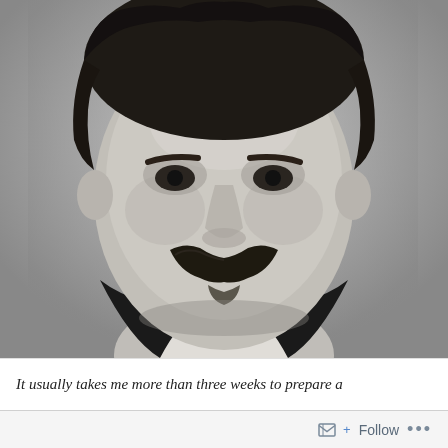[Figure (photo): Black and white portrait photograph of a man with curly dark hair and a large drooping mustache, wearing a dark suit jacket and light colored shirt/cravat. The man appears to be from the late 19th century. The photo is a close-up head-and-shoulders shot.]
It usually takes me more than three weeks to prepare a
Follow ...